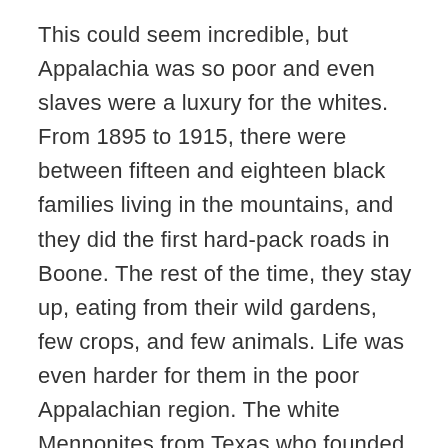This could seem incredible, but Appalachia was so poor and even slaves were a luxury for the whites. From 1895 to 1915, there were between fifteen and eighteen black families living in the mountains, and they did the first hard-pack roads in Boone. The rest of the time, they stay up, eating from their wild gardens, few crops, and few animals. Life was even harder for them in the poor Appalachian region. The white Mennonites from Texas who founded their church, but at once they were 5 churches.
Today, only the Mennonite stands in there. On Sundays, people park in the Stor Road to let for...